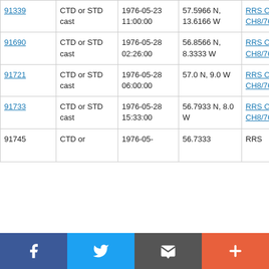| 91339 | CTD or STD cast | 1976-05-23 11:00:00 | 57.5966 N, 13.6166 W | RRS Challenger CH8/76 |
| 91690 | CTD or STD cast | 1976-05-28 02:26:00 | 56.8566 N, 8.3333 W | RRS Challenger CH8/76 |
| 91721 | CTD or STD cast | 1976-05-28 06:00:00 | 57.0 N, 9.0 W | RRS Challenger CH8/76 |
| 91733 | CTD or STD cast | 1976-05-28 15:33:00 | 56.7933 N, 8.0 W | RRS Challenger CH8/76 |
| 91745 | CTD or | 1976-05- | 56.7333 | RRS |
[Figure (other): Social media share bar with Facebook, Twitter, email/message, and plus buttons]